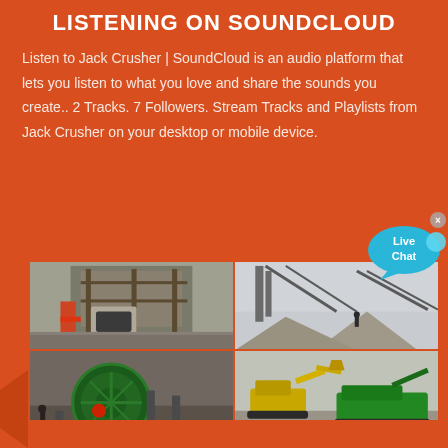LISTENING ON SOUNDCLOUD
Listen to Jack Crusher | SoundCloud is an audio platform that lets you listen to what you love and share the sounds you create.. 2 Tracks. 7 Followers. Stream Tracks and Playlists from Jack Crusher on your desktop or mobile device.
[Figure (infographic): Live Chat speech bubble icon in blue/cyan color, top right area]
[Figure (photo): Four industrial/mining photos in a 2x2 grid: top-left shows crusher machinery and industrial plant structure; top-right shows conveyor belts and aggregate piles at a mining site; bottom-left shows a large green sand washing wheel/drum machine; bottom-right shows a yellow-green mobile excavator and green mobile crushing/screening unit on gravel.]